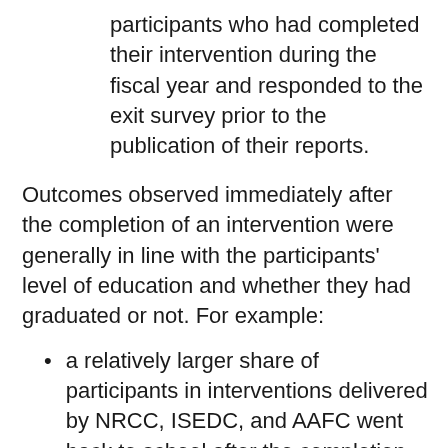participants who had completed their intervention during the fiscal year and responded to the exit survey prior to the publication of their reports.
Outcomes observed immediately after the completion of an intervention were generally in line with the participants' level of education and whether they had graduated or not. For example:
a relatively larger share of participants in interventions delivered by NRCC, ISEDC, and AAFC went back to school after the completion of their intervention. These